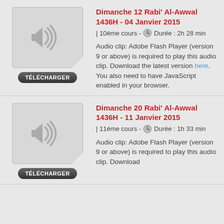[Figure (illustration): Audio file icon with speaker symbol and download button labeled TÉLÉCHARGER]
Dimanche 12 Rabi' Al-Awwal 1436H - 04 Janvier 2015
| 10éme cours - Durée : 2h 28 min
Audio clip: Adobe Flash Player (version 9 or above) is required to play this audio clip. Download the latest version here. You also need to have JavaScript enabled in your browser.
[Figure (illustration): Audio file icon with speaker symbol and download button (partially visible)]
Dimanche 20 Rabi' Al-Awwal 1436H - 11 Janvier 2015
| 11éme cours - Durée : 1h 33 min
Audio clip: Adobe Flash Player (version 9 or above) is required to play this audio clip. Download